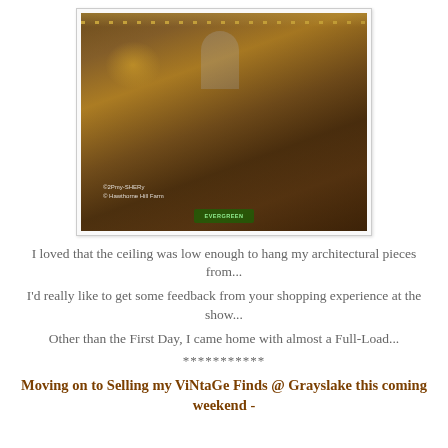[Figure (photo): Interior of a vintage/antique shop with warm string lights, chandelier, rustic wooden ceiling, assorted decorative items including wreaths, furniture, and holiday decorations. Watermark text reads: ©2Pmy-SHERy / © Hawthorne Hill Farm]
I loved that the ceiling was low enough to hang my architectural pieces from...
I'd really like to get some feedback from your shopping experience at the show...
Other than the First Day, I came home with almost a Full-Load...
***********
Moving on to Selling my ViNtaGe Finds @ Grayslake this coming weekend -